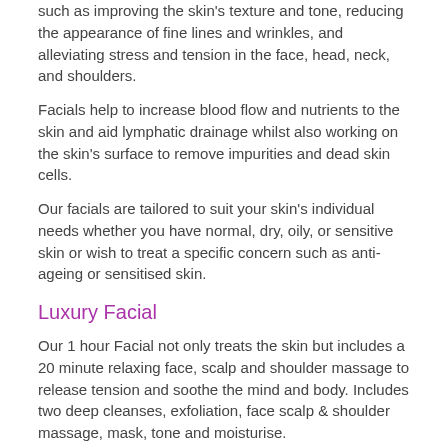such as improving the skin's texture and tone, reducing the appearance of fine lines and wrinkles, and alleviating stress and tension in the face, head, neck, and shoulders.
Facials help to increase blood flow and nutrients to the skin and aid lymphatic drainage whilst also working on the skin's surface to remove impurities and dead skin cells.
Our facials are tailored to suit your skin's individual needs whether you have normal, dry, oily, or sensitive skin or wish to treat a specific concern such as anti-ageing or sensitised skin.
Luxury Facial
Our 1 hour Facial not only treats the skin but includes a 20 minute relaxing face, scalp and shoulder massage to release tension and soothe the mind and body. Includes two deep cleanses, exfoliation, face scalp & shoulder massage, mask, tone and moisturise.
£40 (1 hour)
Indulgent Luxury Facial
Our 90 minute Indulgent Facial offers all of the benefits of the Luxury Facial but also includes a longer massage on the scalp, neck, shoulders, arms and hands. One of the most